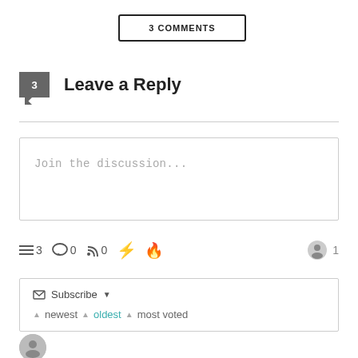3 COMMENTS
Leave a Reply
Join the discussion...
≡3  ☺0  ⌅0  ⚡  🔥  👤 1
✉ Subscribe ▼  ▲ newest  ▲ oldest  ▲ most voted